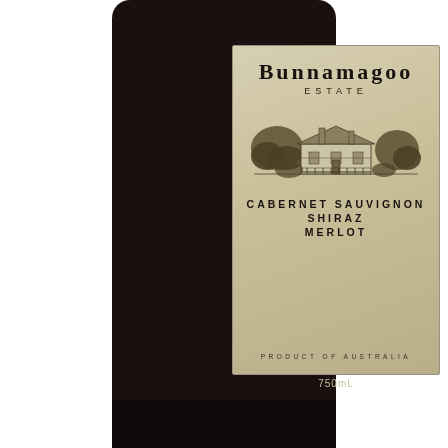[Figure (photo): A wine bottle of Bunnamagoo Estate Cabernet Sauvignon Shiraz Merlot, Product of Australia, 750mL. The bottle is dark (almost black) with a beige/tan label featuring the brand name in large serif letters, an engraving of the estate building, grape variety names, and 'Product of Australia'. A shopping cart icon with a red badge showing '0' is visible in the lower left.]